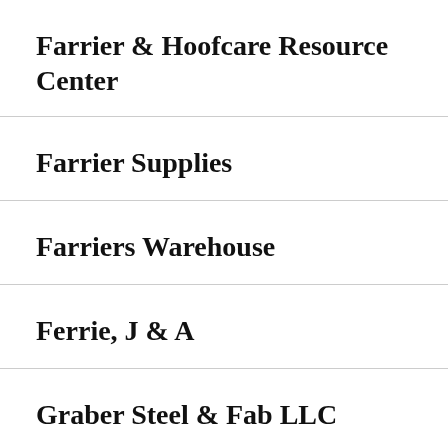Farrier & Hoofcare Resource Center
Farrier Supplies
Farriers Warehouse
Ferrie, J & A
Graber Steel & Fab LLC